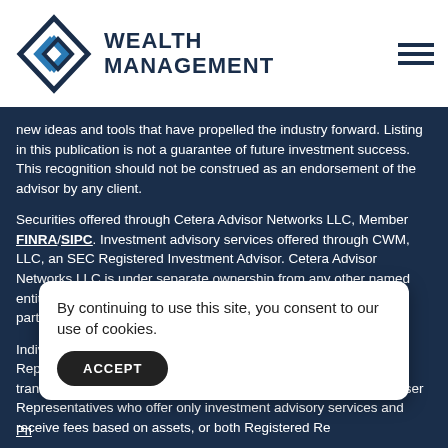Wealth Management
new ideas and tools that have propelled the industry forward. Listing in this publication is not a guarantee of future investment success. This recognition should not be construed as an endorsement of the advisor by any client.
Securities offered through Cetera Advisor Networks LLC, Member FINRA/SIPC. Investment advisory services offered through CWM, LLC, an SEC Registered Investment Advisor. Cetera Advisor Networks LLC is under separate ownership from any other named entity. Carson Partners, a division of CWM, LLC, is a nationwide partnership of advisors.
Individuals affiliated with Cetera firms are either Registered Representatives who offer only brokerage services and receive transaction-based compensation (commissions), Investment Adviser Representatives who offer only investment advisory services and receive fees based on assets, or both Registered Representatives and Investment Adviser Representatives who offer services of s...
By continuing to use this site, you consent to our use of cookies.
ACCEPT
Pri...